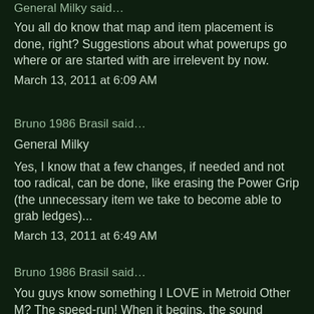General Milky said…
You all do know that map and item placement is done, right? Suggestions about what powerups go where or are started with are irrelevent by now.
March 13, 2011 at 6:09 AM
Bruno 1986 Brasil said…
General Milky
Yes, I know that a few changes, if needed and not too radical, can be done, like erasing the Power Grip (the unnecessary item we take to become able to grab ledges)...
March 13, 2011 at 6:49 AM
Bruno 1986 Brasil said…
You guys know something I LOVE in Metroid Other M? The speed-run! When it begins, the sound barrier is broken and we can se the air